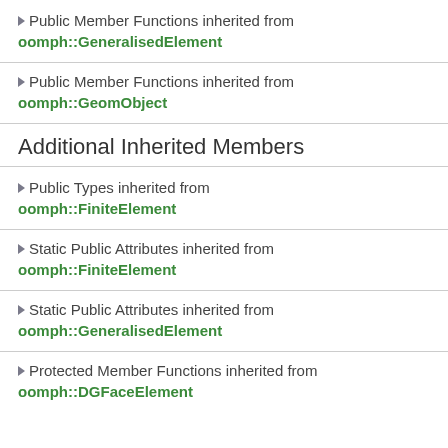Public Member Functions inherited from oomph::GeneralisedElement
Public Member Functions inherited from oomph::GeomObject
Additional Inherited Members
Public Types inherited from oomph::FiniteElement
Static Public Attributes inherited from oomph::FiniteElement
Static Public Attributes inherited from oomph::GeneralisedElement
Protected Member Functions inherited from oomph::DGFaceElement